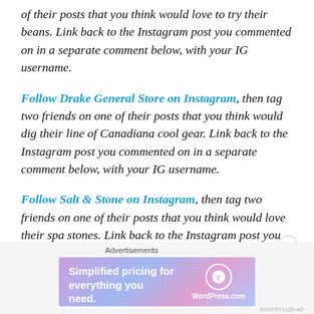of their posts that you think would love to try their beans. Link back to the Instagram post you commented on in a separate comment below, with your IG username.
Follow Drake General Store on Instagram, then tag two friends on one of their posts that you think would dig their line of Canadiana cool gear. Link back to the Instagram post you commented on in a separate comment below, with your IG username.
Follow Salt & Stone on Instagram, then tag two friends on one of their posts that you think would love their spa stones. Link back to the Instagram post you commented on in a separate comment below, with your IG username.
[Figure (other): WordPress.com advertisement banner with text 'Simplified pricing for everything you need.' and WordPress.com logo on a gradient purple-blue background. Labeled 'Advertisements' above.]